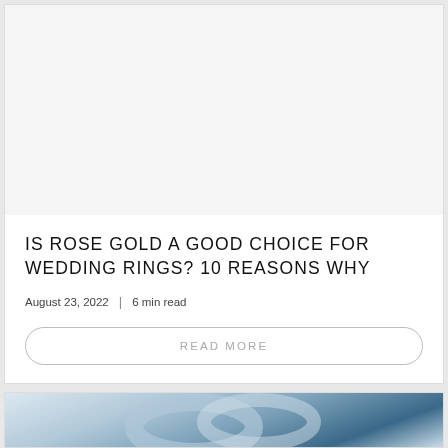[Figure (photo): White/blank image area for wedding ring article]
IS ROSE GOLD A GOOD CHOICE FOR WEDDING RINGS? 10 REASONS WHY
August 23, 2022  |  6 min read
READ MORE
[Figure (photo): Partial view of a diamond/gemstone ring against light background]